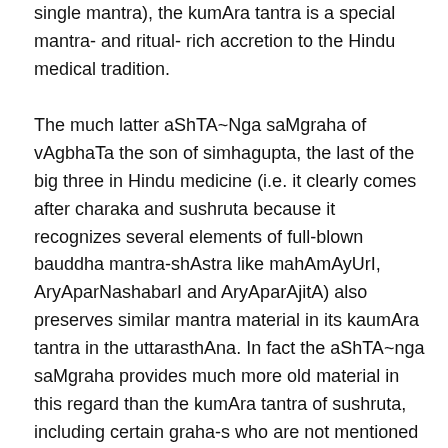single mantra), the kumAra tantra is a special mantra- and ritual- rich accretion to the Hindu medical tradition.
The much latter aShTA~Nga saMgraha of vAgbhaTa the son of simhagupta, the last of the big three in Hindu medicine (i.e. it clearly comes after charaka and sushruta because it recognizes several elements of full-blown bauddha mantra-shAstra like mahAmAyUrI, AryAparNashabarI and AryAparAjitA) also preserves similar mantra material in its kaumAra tantra in the uttarasthAna. In fact the aShTA~nga saMgraha provides much more old material in this regard than the kumAra tantra of sushruta, including certain graha-s who are not mentioned in sushruta but definitely existed even before: for example, the shva-graha (uttarasthAna 6.26). This kerberomorphic graha already appears in the mantra used in the pAraskAra gR^ihya sUtra on occasion of a kumAra